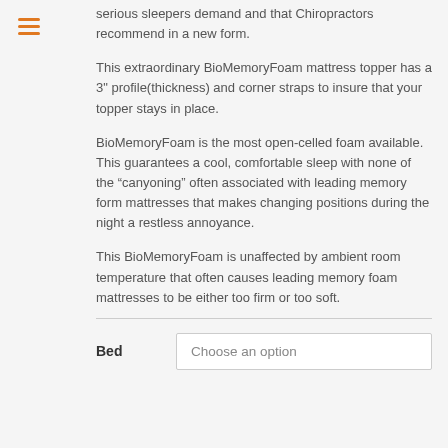serious sleepers demand and that Chiropractors recommend in a new form.
This extraordinary BioMemoryFoam mattress topper has a 3" profile(thickness) and corner straps to insure that your topper stays in place.
BioMemoryFoam is the most open-celled foam available. This guarantees a cool, comfortable sleep with none of the “canyoning” often associated with leading memory form mattresses that makes changing positions during the night a restless annoyance.
This BioMemoryFoam is unaffected by ambient room temperature that often causes leading memory foam mattresses to be either too firm or too soft.
| Bed |  |
| --- | --- |
| Bed | Choose an option |